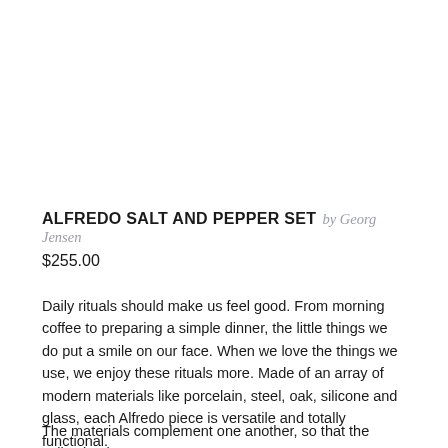ALFREDO SALT AND PEPPER SET by Georg Jensen
$255.00
Daily rituals should make us feel good. From morning coffee to preparing a simple dinner, the little things we do put a smile on our face. When we love the things we use, we enjoy these rituals more. Made of an array of modern materials like porcelain, steel, oak, silicone and glass, each Alfredo piece is versatile and totally functional.
The materials complement one another, so that the collection is